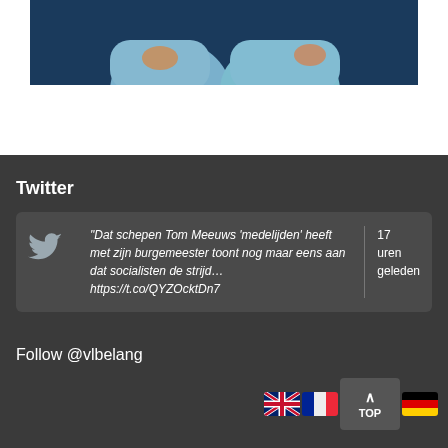[Figure (photo): Partial photo of people in blue clothing against dark blue background, cropped at top]
Twitter
"Dat schepen Tom Meeuws 'medelijden' heeft met zijn burgemeester toont nog maar eens aan dat socialisten de strijd… https://t.co/QYZOcktDn7
17 uren geleden
Follow @vlbelang